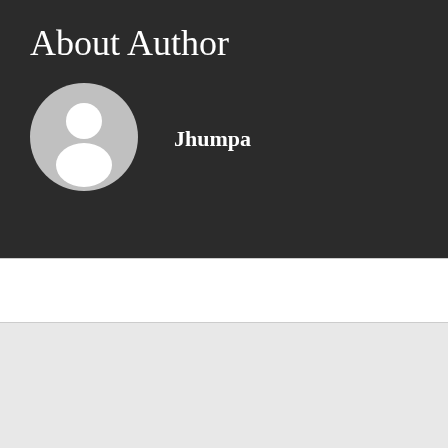About Author
Jhumpa
[Figure (illustration): Default user avatar circle with a generic person silhouette in gray tones]
[Figure (screenshot): White content bar area below the dark author header section]
[Figure (screenshot): Dark widget box on light gray background containing a white search input field and a blue button at the bottom]